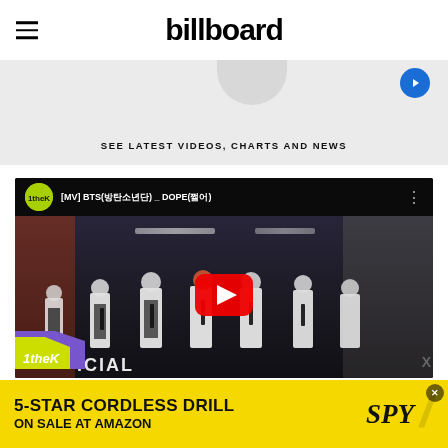billboard
SEE LATEST VIDEOS, CHARTS AND NEWS
[Figure (screenshot): YouTube video thumbnail showing BTS [MV] BTS(방탄소년단) _ DOPE(쩔어) music video from 1theK channel, with dancers in white shirts and black ties in a warehouse setting, YouTube play button overlay]
[Figure (photo): Advertisement banner: 5-STAR CORDLESS DRILL ON SALE AT AMAZON, SPY brand logo on yellow background]